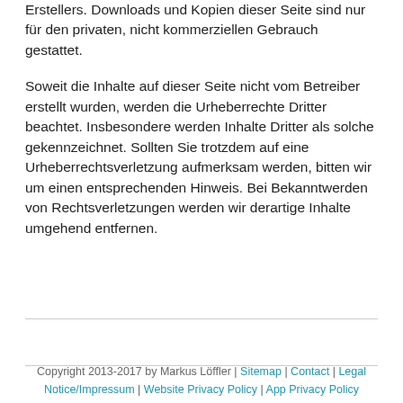Erstellers. Downloads und Kopien dieser Seite sind nur für den privaten, nicht kommerziellen Gebrauch gestattet.
Soweit die Inhalte auf dieser Seite nicht vom Betreiber erstellt wurden, werden die Urheberrechte Dritter beachtet. Insbesondere werden Inhalte Dritter als solche gekennzeichnet. Sollten Sie trotzdem auf eine Urheberrechtsverletzung aufmerksam werden, bitten wir um einen entsprechenden Hinweis. Bei Bekanntwerden von Rechtsverletzungen werden wir derartige Inhalte umgehend entfernen.
Copyright 2013-2017 by Markus Löffler | Sitemap | Contact | Legal Notice/Impressum | Website Privacy Policy | App Privacy Policy